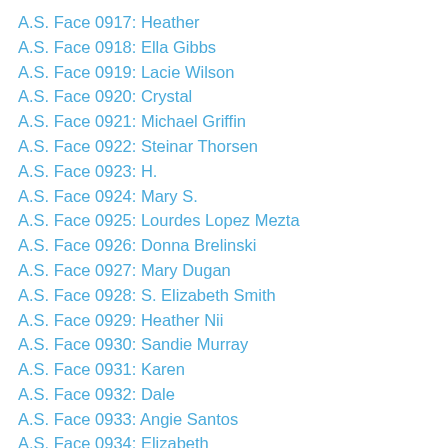A.S. Face 0917: Heather
A.S. Face 0918: Ella Gibbs
A.S. Face 0919: Lacie Wilson
A.S. Face 0920: Crystal
A.S. Face 0921: Michael Griffin
A.S. Face 0922: Steinar Thorsen
A.S. Face 0923: H.
A.S. Face 0924: Mary S.
A.S. Face 0925: Lourdes Lopez Mezta
A.S. Face 0926: Donna Brelinski
A.S. Face 0927: Mary Dugan
A.S. Face 0928: S. Elizabeth Smith
A.S. Face 0929: Heather Nii
A.S. Face 0930: Sandie Murray
A.S. Face 0931: Karen
A.S. Face 0932: Dale
A.S. Face 0933: Angie Santos
A.S. Face 0934: Elizabeth
A.S. Face 0935: John L. Nichols
A.S. Face 0936: K.U.